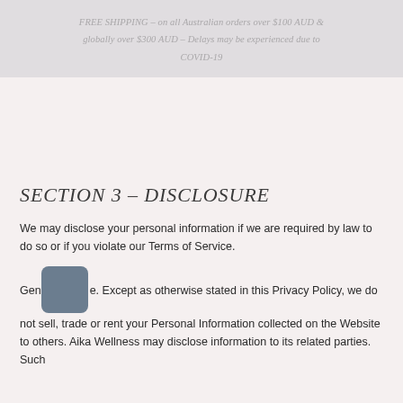FREE SHIPPING – on all Australian orders over $100 AUD & globally over $300 AUD – Delays may be experienced due to COVID-19
SECTION 3 – DISCLOSURE
We may disclose your personal information if we are required by law to do so or if you violate our Terms of Service.
Generally. Except as otherwise stated in this Privacy Policy, we do not sell, trade or rent your Personal Information collected on the Website to others. Aika Wellness may disclose information to its related parties. Such